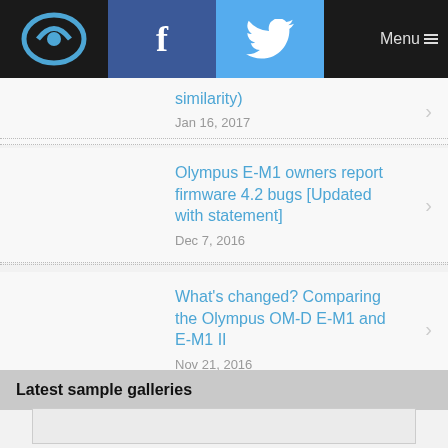Logo | Facebook | Twitter | Menu
similarity)
Jan 16, 2017
Olympus E-M1 owners report firmware 4.2 bugs [Updated with statement]
Dec 7, 2016
What's changed? Comparing the Olympus OM-D E-M1 and E-M1 II
Nov 21, 2016
Latest sample galleries
[Figure (photo): Empty gallery image placeholder box]